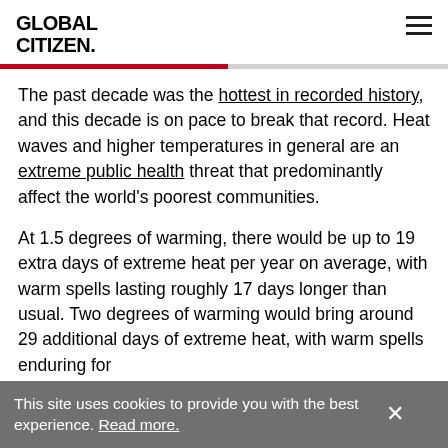GLOBAL CITIZEN.
The past decade was the hottest in recorded history, and this decade is on pace to break that record. Heat waves and higher temperatures in general are an extreme public health threat that predominantly affect the world's poorest communities.
At 1.5 degrees of warming, there would be up to 19 extra days of extreme heat per year on average, with warm spells lasting roughly 17 days longer than usual. Two degrees of warming would bring around 29 additional days of extreme heat, with warm spells enduring for
This site uses cookies to provide you with the best experience. Read more.